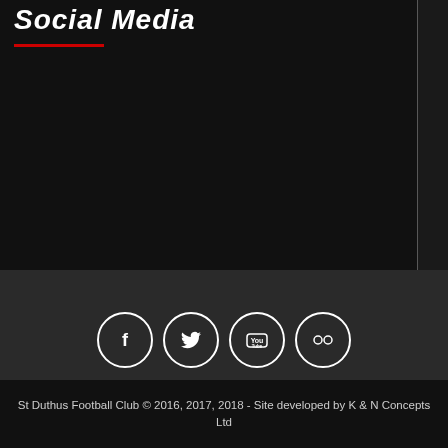Social Media
[Figure (other): Four social media icon circles: Facebook, Twitter, YouTube, Flickr]
St Duthus Football Club © 2016, 2017, 2018 - Site developed by K & N Concepts Ltd